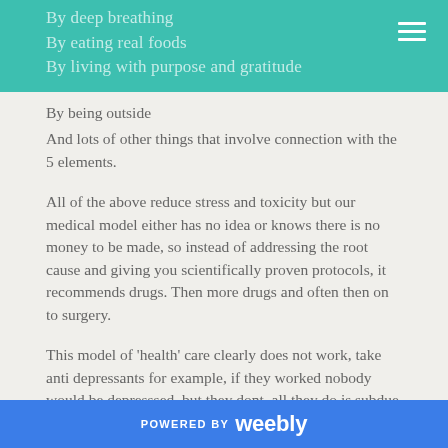By deep breathing
By eating real foods
By living with purpose and gratitude
By being outside
And lots of other things that involve connection with the 5 elements.
All of the above reduce stress and toxicity but our medical model either has no idea or knows there is no money to be made, so instead of addressing the root cause and giving you scientifically proven protocols, it recommends drugs. Then more drugs and often then on to surgery.
This model of 'health' care clearly does not work, take anti depressants for example, if they worked nobody would be depresssed, but they dont, all they do is subdue symptoms and that is if you are lucky.
Disease caused by being cut off from our infinite energy
POWERED BY weebly